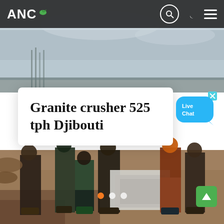[Figure (photo): Construction site photo showing workers/people standing in front of industrial crushing equipment on a sandy/dirt surface. Sky visible in upper portion. Background shows construction structures.]
ANC
Granite crusher 525 tph Djibouti
[Figure (other): Live Chat speech bubble widget in blue, with an 'x' close button]